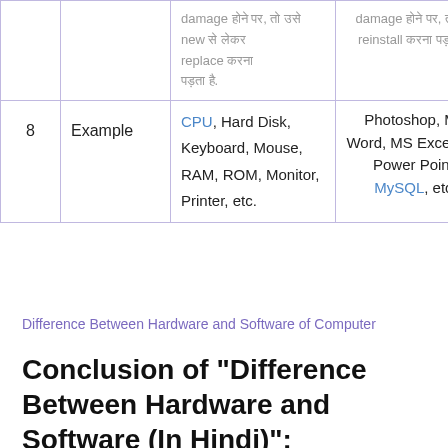| # | Category | Hardware | Software |
| --- | --- | --- | --- |
|  |  | damage होने पर, तो उसे new से लेकर replace करना पड़ता है. | damage होने पर, तो उसे reinstall करना पड़ता है. |
| 8 | Example | CPU, Hard Disk, Keyboard, Mouse, RAM, ROM, Monitor, Printer, etc. | Photoshop, MS Word, MS Excel, MS Power Point, MySQL, etc. |
Difference Between Hardware and Software of Computer
Conclusion of "Difference Between Hardware and Software (In Hindi)":